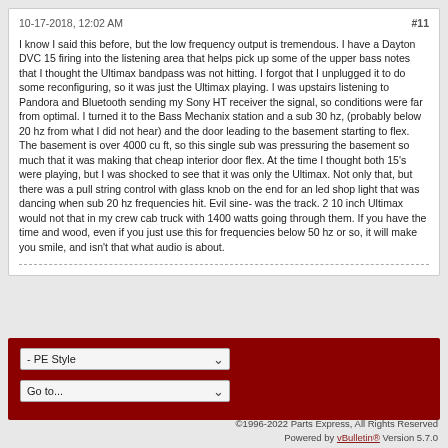10-17-2018, 12:02 AM    #11
I know I said this before, but the low frequency output is tremendous. I have a Dayton DVC 15 firing into the listening area that helps pick up some of the upper bass notes that I thought the Ultimax bandpass was not hitting. I forgot that I unplugged it to do some reconfiguring, so it was just the Ultimax playing. I was upstairs listening to Pandora and Bluetooth sending my Sony HT receiver the signal, so conditions were far from optimal. I turned it to the Bass Mechanix station and a sub 30 hz, (probably below 20 hz from what I did not hear) and the door leading to the basement starting to flex. The basement is over 4000 cu ft, so this single sub was pressuring the basement so much that it was making that cheap interior door flex. At the time I thought both 15's were playing, but I was shocked to see that it was only the Ultimax. Not only that, but there was a pull string control with glass knob on the end for an led shop light that was dancing when sub 20 hz frequencies hit. Evil sine- was the track. 2 10 inch Ultimax would not that in my crew cab truck with 1400 watts going through them. If you have the time and wood, even if you just use this for frequencies below 50 hz or so, it will make you smile, and isn't that what audio is about.
[Figure (screenshot): Dropdown selects on dark red footer bar: '- PE Style' and 'Go to...']
©1996-2022 Parts Express, All Rights Reserved Powered by vBulletin® Version 5.7.0